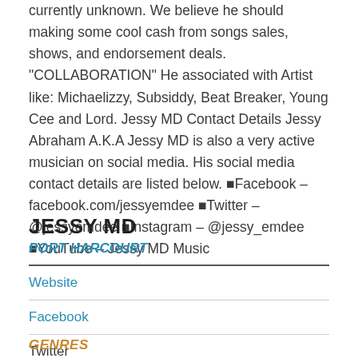currently unknown. We believe he should making some cool cash from songs sales, shows, and endorsement deals. "COLLABORATION" He associated with Artist like: Michaelizzy, Subsiddy, Beat Breaker, Young Cee and Lord. Jessy MD Contact Details Jessy Abraham A.K.A Jessy MD is also a very active musician on social media. His social media contact details are listed below. ■Facebook – facebook.com/jessyemdee ■Twitter – @jessyemdee ■Instagram – @jessy_emdee ■YouTube – Jessy MD Music
JESSY MD
PORT HARCOURT
Website
Facebook
Twitter
GENRES